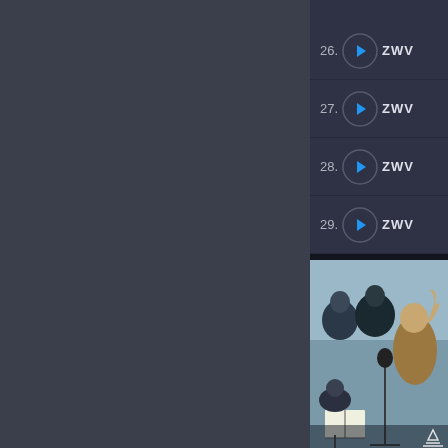[Figure (screenshot): Music player interface showing a track list with items 26-29, each with a play button and track label starting with 'ZWV', on a dark background. Below the list is a photograph of an orchestra/choir rehearsal with a conductor gesturing and musicians with sheet music.]